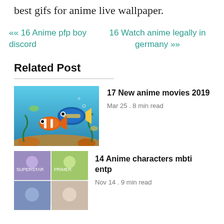best gifs for anime live wallpaper.
«« 16 Anime pfp boy discord   16 Watch anime legally in germany »»
Related Post
[Figure (photo): Thumbnail image showing animated fish (Finding Nemo style) underwater scene with clownfish and blue tang fish.]
17 New anime movies 2019
Mar 25 . 8 min read
[Figure (photo): Grid of four anime character thumbnails showing various anime characters.]
14 Anime characters mbti entp
Nov 14 . 9 min read